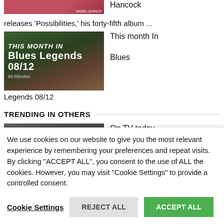[Figure (photo): Thumbnail image with Annie Lennox label, red/dark tones]
Hancock
releases 'Possibilities,' his forty-fifth album ...
[Figure (photo): Blues Legends 08/12 This Month In Blues Legends thumbnail with dark background]
This month In Blues
Legends 08/12
TRENDING IN OTHERS
[Figure (photo): Pete Seeger 70 Minutes thumbnail with dark background]
On TV today, Arlo Guthrie
We use cookies on our website to give you the most relevant experience by remembering your preferences and repeat visits. By clicking "ACCEPT ALL", you consent to the use of ALL the cookies. However, you may visit "Cookie Settings" to provide a controlled consent.